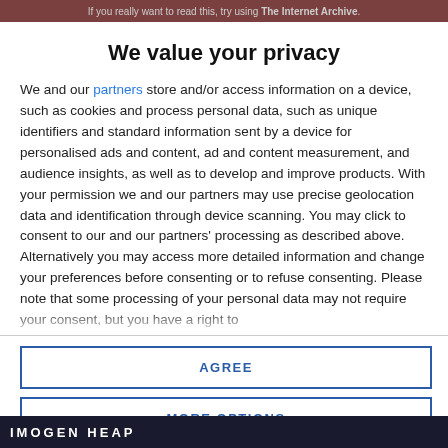If you really want to read this, try using The Internet Archive.
We value your privacy
We and our partners store and/or access information on a device, such as cookies and process personal data, such as unique identifiers and standard information sent by a device for personalised ads and content, ad and content measurement, and audience insights, as well as to develop and improve products. With your permission we and our partners may use precise geolocation data and identification through device scanning. You may click to consent to our and our partners' processing as described above. Alternatively you may access more detailed information and change your preferences before consenting or to refuse consenting. Please note that some processing of your personal data may not require your consent, but you have a right to
AGREE
MORE OPTIONS
[Figure (other): Bottom strip showing partial text IMOGEN HEAP with dark background image]